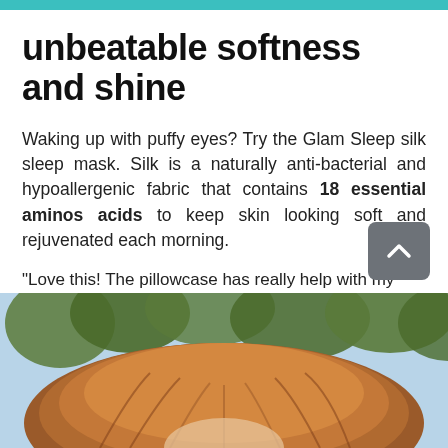unbeatable softness and shine
Waking up with puffy eyes? Try the Glam Sleep silk sleep mask. Silk is a naturally anti-bacterial and hypoallergenic fabric that contains 18 essential aminos acids to keep skin looking soft and rejuvenated each morning.
"Love this! The pillowcase has really help with my sleep and I wear the mask everyday."
- Marie
[Figure (photo): A person wearing a silk sleep mask, shown outdoors with trees/palms in the background, photographed from behind/above showing auburn hair]